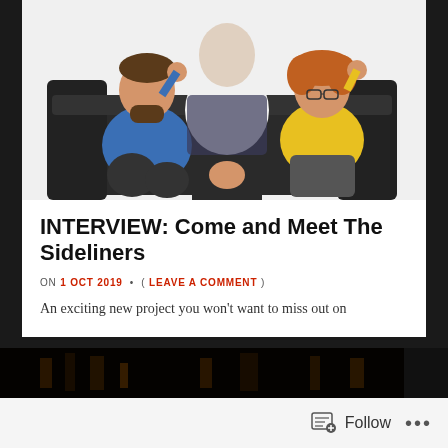[Figure (photo): Three people in a photo session: a man in blue shirt seated on a black leather sofa on the left with hand on head, a person in white t-shirt standing in foreground with back to camera, and a woman in yellow top seated on the right with hand on head and glasses]
INTERVIEW: Come and Meet The Sideliners
ON 1 OCT 2019 • ( LEAVE A COMMENT )
An exciting new project you won't want to miss out on
[Figure (photo): Dark background image showing dim lit shelves or wall, partially visible at bottom of page]
Follow